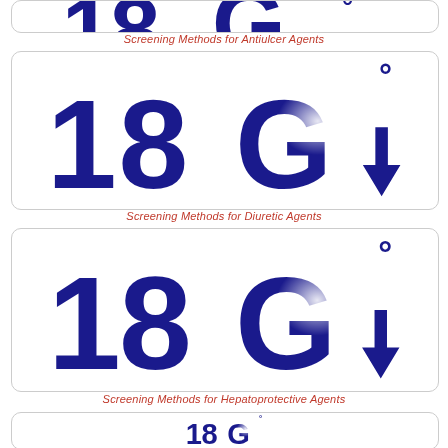[Figure (logo): 18G logo - dark blue stylized '18G' with degree symbol and upward arrow, partial view at top]
Screening Methods for Antiulcer Agents
[Figure (logo): 18G logo - dark blue stylized '18G' with degree symbol and upward arrow]
Screening Methods for Diuretic Agents
[Figure (logo): 18G logo - dark blue stylized '18G' with degree symbol and upward arrow]
Screening Methods for Hepatoprotective Agents
[Figure (logo): 18G logo - dark blue stylized '18G' with degree symbol and upward arrow, partial view at bottom]